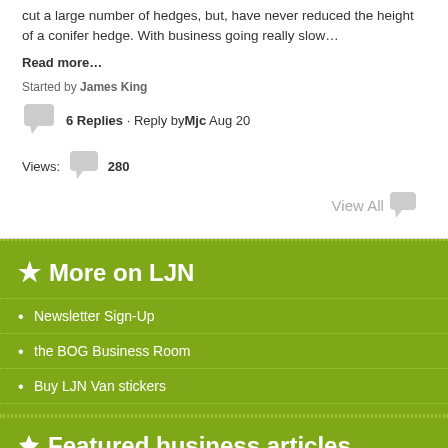cut a large number of hedges, but, have never reduced the height of a conifer hedge. With business going really slow…
Read more…
Started by James King
6 Replies · Reply by Mjc Aug 20
Views: 280
View All
★ More on LJN
Newsletter Sign-Up
the BOG Business Room
Buy LJN Van stickers
Featured business articles